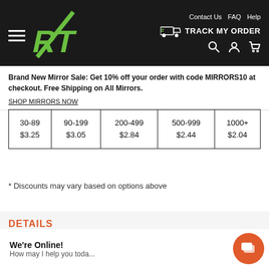[Figure (logo): ART company logo in green on dark header with hamburger menu, track my order truck icon, navigation links Contact Us FAQ Help, and search/account/cart icons]
Brand New Mirror Sale: Get 10% off your order with code MIRRORS10 at checkout. Free Shipping on All Mirrors.
SHOP MIRRORS NOW
| 30-89
$3.25 | 90-199
$3.05 | 200-499
$2.84 | 500-999
$2.44 | 1000+
$2.04 |
* Discounts may vary based on options above
DETAILS
Our acid-free white co...ma... provides the aesthet...d...your prints, artwork, a...Eac... mat board has a 45 degree bevel edge and a richly colored